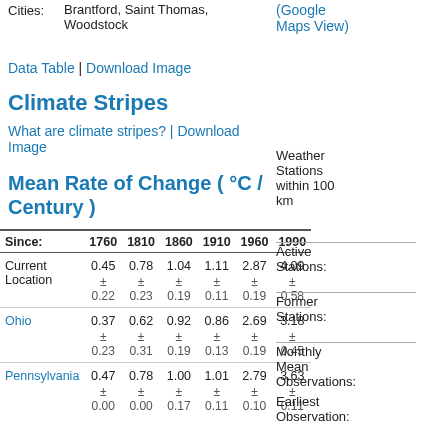Cities: Brantford, Saint Thomas, Woodstock
(Google Maps View)
Data Table | Download Image
Climate Stripes
What are climate stripes? | Download Image
Mean Rate of Change ( °C / Century )
Weather Stations within 100 km
Active Stations:
Former Stations:
Monthly Mean Observations:
Earliest Observation:
| Since: | 1760 | 1810 | 1860 | 1910 | 1960 | 1990 |
| --- | --- | --- | --- | --- | --- | --- |
| Current Location | 0.45 | 0.78 | 1.04 | 1.11 | 2.87 | 4.09 |
|  | ± 0.22 | ± 0.23 | ± 0.19 | ± 0.11 | ± 0.19 | ± 0.58 |
| Ohio | 0.37 | 0.62 | 0.92 | 0.86 | 2.69 | 3.18 |
|  | ± 0.23 | ± 0.31 | ± 0.19 | ± 0.13 | ± 0.19 | ± 0.45 |
| Pennsylvania | 0.47 | 0.78 | 1.00 | 1.01 | 2.79 | 3.63 |